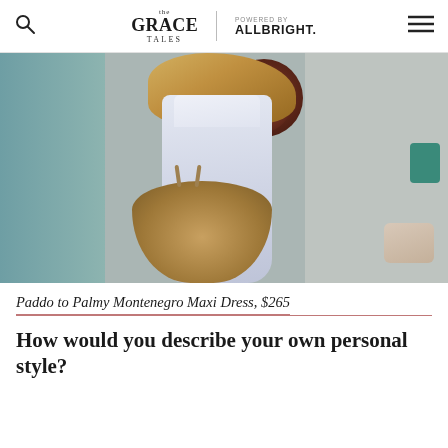The Grace Tales · POWERED BY ALLBRIGHT.
[Figure (photo): Woman in white sleeveless maxi dress holding a woven straw tote bag, standing in front of a grey door with a large dark feather wreath in the background]
Paddo to Palmy Montenegro Maxi Dress, $265
How would you describe your own personal style?